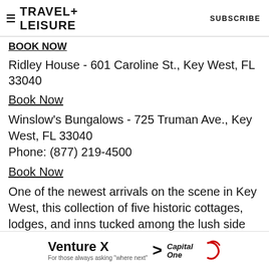TRAVEL+ LEISURE   SUBSCRIBE
BOOK NOW
Ridley House - 601 Caroline St., Key West, FL 33040
Book Now
Winslow's Bungalows - 725 Truman Ave., Key West, FL 33040
Phone: (877) 219-4500
Book Now
One of the newest arrivals on the scene in Key West, this collection of five historic cottages, lodges, and inns tucked among the lush side streets of Old Town
[Figure (other): Capital One Venture X advertisement banner: 'Venture X For those always asking where next' with Capital One logo and arrow]